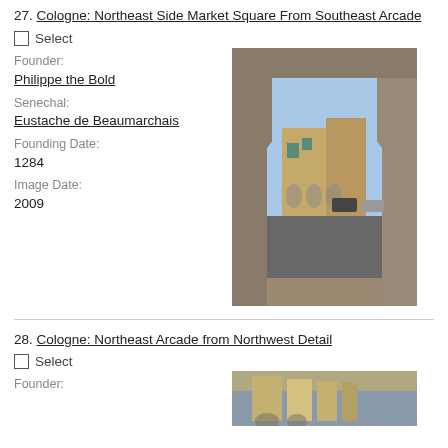27. Cologne: Northeast Side Market Square From Southeast Arcade
Select
Founder:
Philippe the Bold
Senechal:
Eustache de Beaumarchais
Founding Date:
1284
Image Date:
2009
[Figure (photo): View through a stone arch looking out onto a market square with historic timber-framed buildings, cars parked along a road, and a clear sky.]
28. Cologne: Northeast Arcade from Northwest Detail
Select
Founder:
[Figure (photo): Partial view of the northeast arcade, detail from northwest angle.]